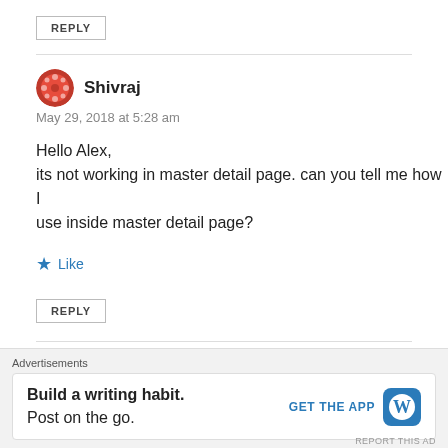REPLY
Shivraj
May 29, 2018 at 5:28 am
Hello Alex,
its not working in master detail page. can you tell me how I use inside master detail page?
Like
REPLY
Advertisements
Build a writing habit.
Post on the go.
GET THE APP